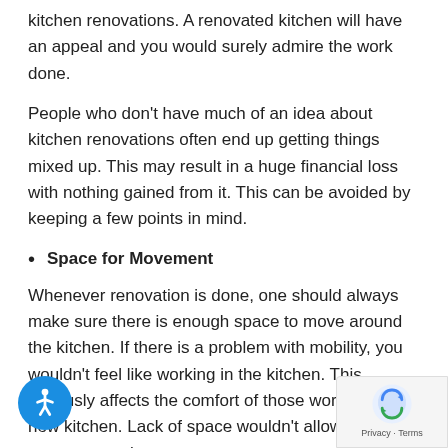kitchen renovations. A renovated kitchen will have an appeal and you would surely admire the work done.
People who don't have much of an idea about kitchen renovations often end up getting things mixed up. This may result in a huge financial loss with nothing gained from it. This can be avoided by keeping a few points in mind.
Space for Movement
Whenever renovation is done, one should always make sure there is enough space to move around the kitchen. If there is a problem with mobility, you wouldn't feel like working in the kitchen. This seriously affects the comfort of those working in the new kitchen. Lack of space wouldn't allow many people to work at once.